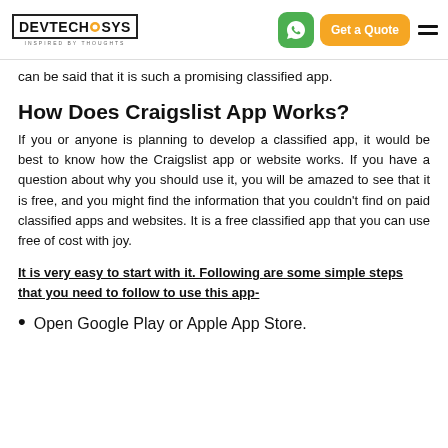DevTechnoSys | Get a Quote
can be said that it is such a promising classified app.
How Does Craigslist App Works?
If you or anyone is planning to develop a classified app, it would be best to know how the Craigslist app or website works. If you have a question about why you should use it, you will be amazed to see that it is free, and you might find the information that you couldn’t find on paid classified apps and websites. It is a free classified app that you can use free of cost with joy.
It is very easy to start with it. Following are some simple steps that you need to follow to use this app-
Open Google Play or Apple App Store.